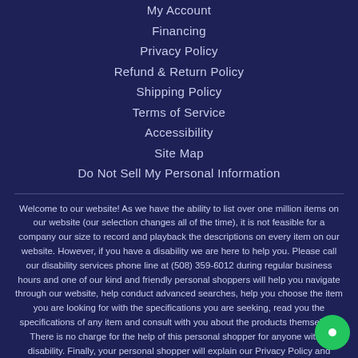My Account
Financing
Privacy Policy
Refund & Return Policy
Shipping Policy
Terms of Service
Accessibility
Site Map
Do Not Sell My Personal Information
Welcome to our website! As we have the ability to list over one million items on our website (our selection changes all of the time), it is not feasible for a company our size to record and playback the descriptions on every item on our website. However, if you have a disability we are here to help you. Please call our disability services phone line at (508) 359-6012 during regular business hours and one of our kind and friendly personal shoppers will help you navigate through our website, help conduct advanced searches, help you choose the item you are looking for with the specifications you are seeking, read you the specifications of any item and consult with you about the products themselves. There is no charge for the help of this personal shopper for anyone with a disability. Finally, your personal shopper will explain our Privacy Policy and Terms of